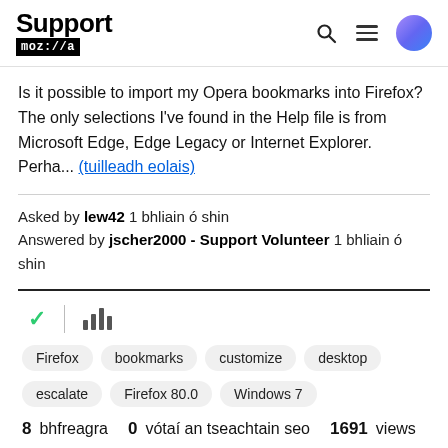Support moz://a
Is it possible to import my Opera bookmarks into Firefox? The only selections I've found in the Help file is from Microsoft Edge, Edge Legacy or Internet Explorer. Perha... (tuilleadh eolais)
Asked by lew42 1 bhliain ó shin
Answered by jscher2000 - Support Volunteer 1 bhliain ó shin
[Figure (other): Checkmark icon (green) and stacked bars icon]
Firefox
bookmarks
customize
desktop
escalate
Firefox 80.0
Windows 7
8 bhfreagra  0  vótaí an tseachtain seo  1691  views